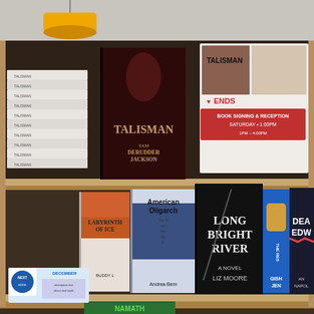[Figure (photo): Interior of a bookstore showing two wooden shelves. Top shelf displays a stack of 'Talisman' books by Tam DeRudder Jackson on the left, a prominent face-out copy of the 'Talisman' novel in the center, and a promotional sign on the right advertising a Book Signing & Reception event with author photos. Bottom shelf displays several face-out books: 'Labyrinth of Ice' by Buddy Levy, 'American Oligarchs' by Andrea Bernstein, 'Long Bright River' by Liz Moore, 'The Resistance' by Gish Jen, and 'Dear Edward' by Ann Napolitano. The lower shelf also has a promotional card for a 'Next' book event for December. An orange pendant lamp is visible in the upper left.]